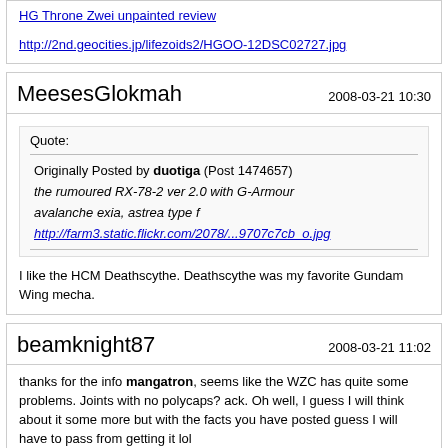HG Throne Zwei unpainted review
http://2nd.geocities.jp/lifezoids2/HGOO-12DSC02727.jpg
MeesesGlokmah
2008-03-21 10:30
Quote:
Originally Posted by duotiga (Post 1474657)
the rumoured RX-78-2 ver 2.0 with G-Armour

avalanche exia, astrea type f

http://farm3.static.flickr.com/2078/...9707c7cb_o.jpg
I like the HCM Deathscythe. Deathscythe was my favorite Gundam Wing mecha.
beamknight87
2008-03-21 11:02
thanks for the info mangatron, seems like the WZC has quite some problems. Joints with no polycaps? ack. Oh well, I guess I will think about it some more but with the facts you have posted guess I will have to pass from getting it lol
Better wait a little while for the new models ^^